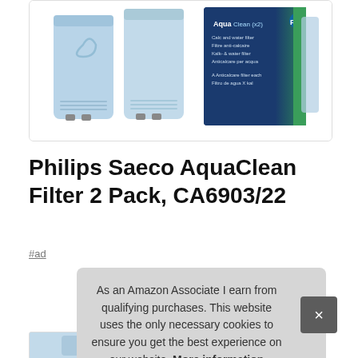[Figure (photo): Product photo of Philips Saeco AquaClean water filter units (light blue) next to their dark blue and green retail box labeled 'Aqua Clean (x2)']
Philips Saeco AquaClean Filter 2 Pack, CA6903/22
#ad
As an Amazon Associate I earn from qualifying purchases. This website uses the only necessary cookies to ensure you get the best experience on our website. More information
[Figure (photo): Small thumbnail images at the bottom of the page showing product images]